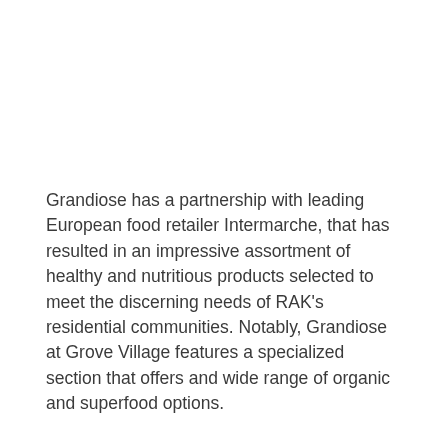Grandiose has a partnership with leading European food retailer Intermarche, that has resulted in an impressive assortment of healthy and nutritious products selected to meet the discerning needs of RAK's residential communities. Notably, Grandiose at Grove Village features a specialized section that offers and wide range of organic and superfood options.